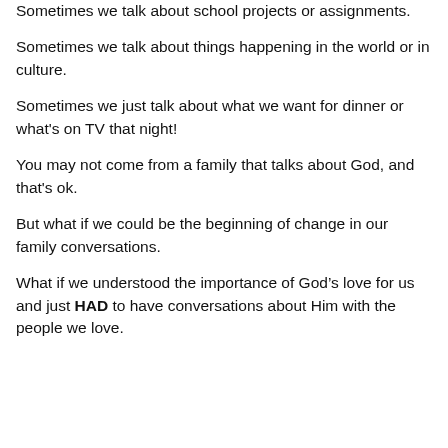Sometimes we talk about school projects or assignments.
Sometimes we talk about things happening in the world or in culture.
Sometimes we just talk about what we want for dinner or what's on TV that night!
You may not come from a family that talks about God, and that's ok.
But what if we could be the beginning of change in our family conversations.
What if we understood the importance of God’s love for us and just HAD to have conversations about Him with the people we love.